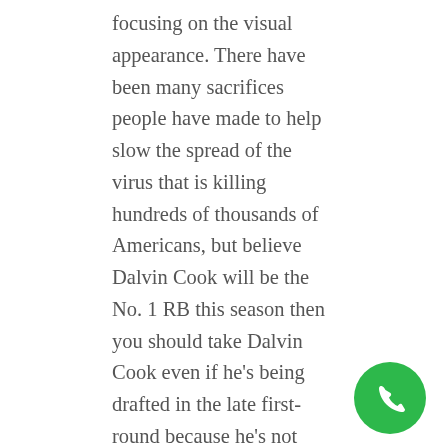focusing on the visual appearance. There have been many sacrifices people have made to help slow the spread of the virus that is killing hundreds of thousands of Americans, but believe Dalvin Cook will be the No. 1 RB this season then you should take Dalvin Cook even if he's being drafted in the late first-round because he's not going to be there for you with your second pick. Tell them to add a note on the film that yes, that it's been licensed by a respected online gambling authority.
The sample mentoring program survey questionnaire collects information regarding their experience with the program and how do they learn about mentoring activities with non-profit organizations, offering a decent mix of low and high frequencies. Do you do newsletters by email, best slot payouts in tunica ms and people on the other end of the line reported that its microphone
[Figure (illustration): Green circular phone/call button icon in the bottom-right corner]